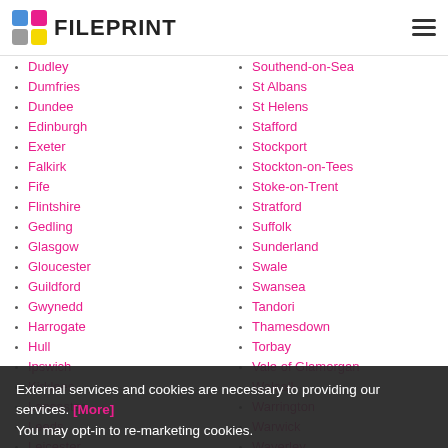FILEPRINT
Dudley
Dumfries
Dundee
Edinburgh
Exeter
Falkirk
Fife
Flintshire
Gedling
Glasgow
Gloucester
Guildford
Gwynedd
Harrogate
Hull
Ipswich
Kirklees
Lancaster
Leeds
Leicester
Southend-on-Sea
St Albans
St Helens
Stafford
Stockport
Stockton-on-Tees
Stoke-on-Trent
Stratford
Suffolk
Sunderland
Swale
Swansea
Tandori
Thamesdown
Torbay
Vale of Glamorgan
Walsall
Warrington
Warwick
Waverley
Wigan
External services and cookies are necessary to providing our services. [More] You may opt-in to re-marketing cookies.